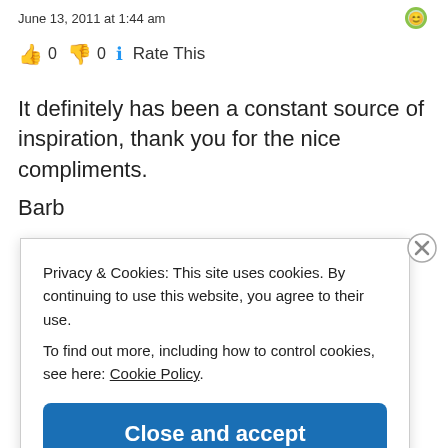June 13, 2011 at 1:44 am
👍 0 👎 0 ℹ Rate This
It definitely has been a constant source of inspiration, thank you for the nice compliments.
Barb
Privacy & Cookies: This site uses cookies. By continuing to use this website, you agree to their use.
To find out more, including how to control cookies, see here: Cookie Policy
Close and accept